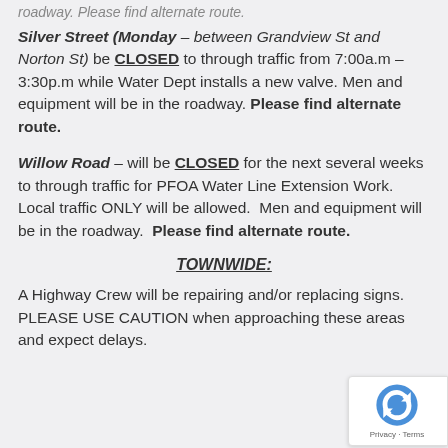roadway. Please find alternate route.
Silver Street (Monday – between Grandview St and Norton St) be CLOSED to through traffic from 7:00a.m – 3:30p.m while Water Dept installs a new valve. Men and equipment will be in the roadway. Please find alternate route.
Willow Road – will be CLOSED for the next several weeks to through traffic for PFOA Water Line Extension Work. Local traffic ONLY will be allowed. Men and equipment will be in the roadway. Please find alternate route.
TOWNWIDE:
A Highway Crew will be repairing and/or replacing signs. PLEASE USE CAUTION when approaching these areas and expect delays.